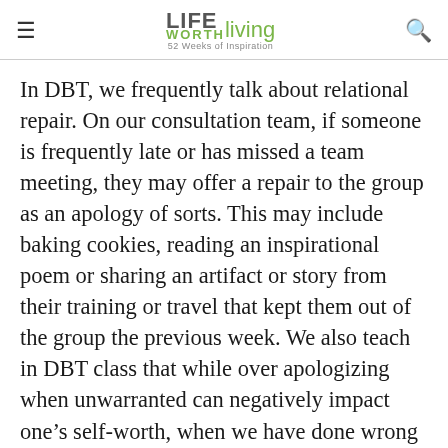LIFE WORTH Living — 52 Weeks of Inspiration
In DBT, we frequently talk about relational repair. On our consultation team, if someone is frequently late or has missed a team meeting, they may offer a repair to the group as an apology of sorts. This may include baking cookies, reading an inspirational poem or sharing an artifact or story from their training or travel that kept them out of the group the previous week. We also teach in DBT class that while over apologizing when unwarranted can negatively impact one's self-worth, when we have done wrong to someone, a simple apology is indicated, reflecting accountability for our behavior and choices.